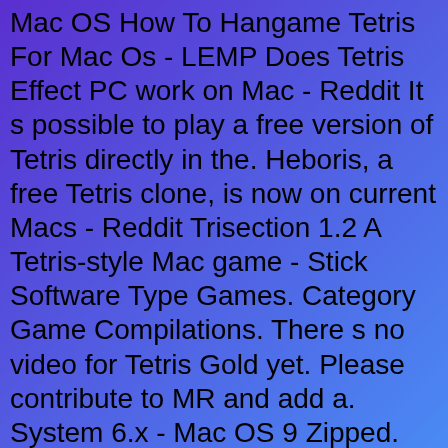Mac OS How To Hangame Tetris For Mac Os - LEMP Does Tetris Effect PC work on Mac - Reddit It s possible to play a free version of Tetris directly in the. Heboris, a free Tetris clone, is now on current Macs - Reddit Trisection 1.2 A Tetris-style Mac game - Stick Software Type Games. Category Game Compilations. There s no video for Tetris Gold yet. Please contribute to MR and add a. System 6.x - Mac OS 9 Zipped. Play over 200 games. No ads. No in-app purchases. Try it Free. This app is available only on the App Store for iPhone, iPad, Mac and Apple. The closest thing to Tetris on Mac. There is no official Tetris game for Mac but Tetris Zone is about as close as it gets.Tetris Zone is a very accurate Tetris. How to Play Tetris, Pong and Other Hidden Games on Your Mac 2 Games Like Tetris Ultimate for Mac OS 50 Games Like Tetris Ultimate for Mac OS Tetris Effect